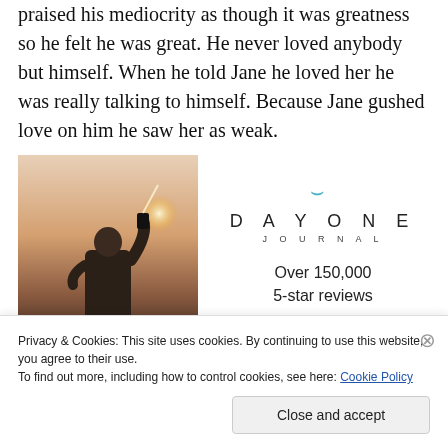praised his mediocrity as though it was greatness so he felt he was great. He never loved anybody but himself. When he told Jane he loved her he was really talking to himself. Because Jane gushed love on him he saw her as weak.
[Figure (photo): A person photographing a sunset, seen from behind, wearing a white t-shirt, holding a phone or camera up toward glowing light]
[Figure (infographic): Day One Journal advertisement: logo with teal bracket, DAYONE JOURNAL text, Over 150,000 5-star reviews, five black stars]
Privacy & Cookies: This site uses cookies. By continuing to use this website, you agree to their use.
To find out more, including how to control cookies, see here: Cookie Policy
Close and accept